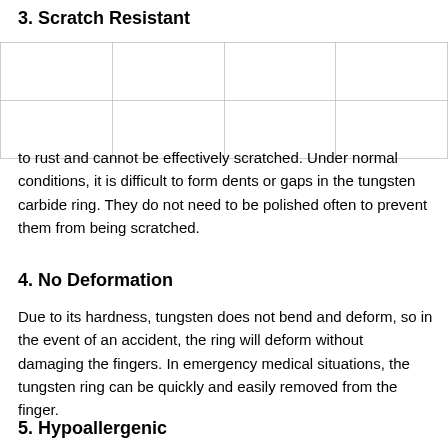3. Scratch Resistant
|  |  |  |  |
|  |  |  |  |
to rust and cannot be effectively scratched. Under normal conditions, it is difficult to form dents or gaps in the tungsten carbide ring. They do not need to be polished often to prevent them from being scratched.
4. No Deformation
Due to its hardness, tungsten does not bend and deform, so in the event of an accident, the ring will deform without damaging the fingers. In emergency medical situations, the tungsten ring can be quickly and easily removed from the finger.
5. Hypoallergenic